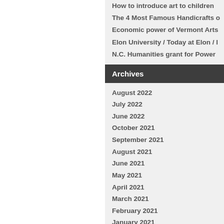How to introduce art to children
The 4 Most Famous Handicrafts
Economic power of Vermont Arts
Elon University / Today at Elon /
N.C. Humanities grant for Power
Archives
August 2022
July 2022
June 2022
October 2021
September 2021
August 2021
June 2021
May 2021
April 2021
March 2021
February 2021
January 2021
December 2020
November 2020